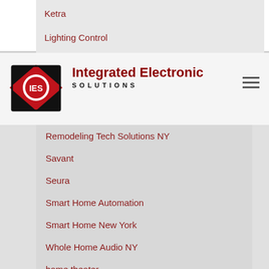Ketra
Lighting Control
[Figure (logo): Integrated Electronic Solutions logo with IES emblem and text]
Remodeling Tech Solutions NY
Savant
Seura
Smart Home Automation
Smart Home New York
Whole Home Audio NY
home theater
whole home audio